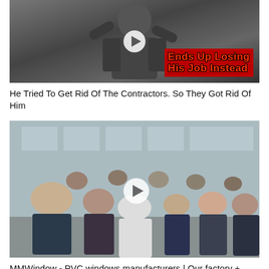[Figure (photo): Black and white thumbnail image of a person in a suit with overlaid red text reading 'Ends Up Losing His Job Instead' and a play button icon]
He Tried To Get Rid Of The Contractors. So They Got Rid Of Him
[Figure (photo): Color photo of a group of people standing together, with a play button icon overlay]
MMWindow - PVC windows manufacturers | Our factory +